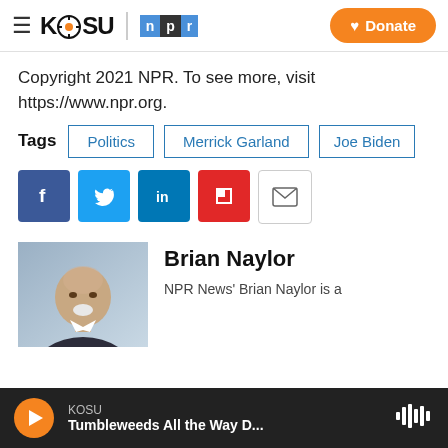KOSU NPR | Donate
Copyright 2021 NPR. To see more, visit https://www.npr.org.
Tags: Politics | Merrick Garland | Joe Biden
[Figure (other): Social share icons: Facebook, Twitter, LinkedIn, Flipboard, Email]
[Figure (photo): Headshot photo of Brian Naylor, a bald older man with a white goatee wearing a dark suit jacket]
Brian Naylor
NPR News' Brian Naylor is a
KOSU | Tumbleweeds All the Way D...